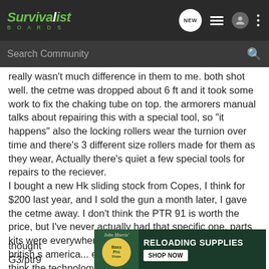Survivalist Boards
really wasn't much difference in them to me. both shot well. the cetme was dropped about 6 ft and it took some work to fix the chaking tube on top. the armorers manual talks about repairing this with a special tool, so "it happens" also the locking rollers wear the turnion over time and there's 3 different size rollers made for them as they wear, Actually there's quiet a few special tools for repairs to the reciever.
I bought a new Hk sliding stock from Copes, I think for $200 last year, and I sold the gun a month later, I gave the cetme away. I don't think the PTR 91 is worth the price, but I've never actually had that specific one. parts kits were everywhere a year ago,german, pakastian, british,s america... everybody had them in the day but i think the technology have made them obsolete.
[Figure (screenshot): Bass Pro Shops advertisement banner for Reloading Supplies with Shop Now button]
thought
G3/ptr9